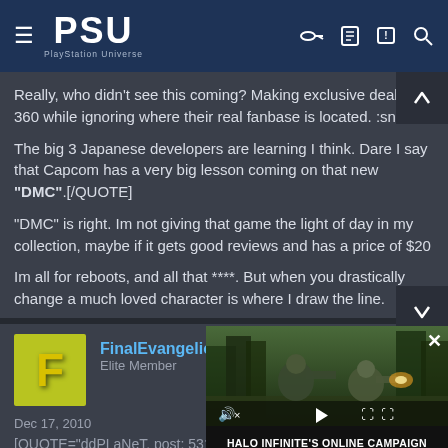PSU PlayStation Universe
Really, who didn't see this coming? Making exclusive deals on 360 while ignoring where their real fanbase is located. :snicker
The big 3 Japanese developers are learning I think. Dare I say that Capcom has a very big lesson coming on that new "DMC".[/QUOTE]
"DMC" is right. Im not giving that game the light of day in my collection, maybe if it gets good reviews and has a price of $20
Im all for reboots, and all that ****. But when you drastically change a much loved character is where I draw the line.
FinalEvangelion
Elite Member
Dec 17, 2010
[QUOTE="ddPLaNeT, post: 5316180]Serio... mess this generation?
[Figure (screenshot): Halo Infinite online campaign co-op advertisement overlay showing soldiers in forest environment with video controls and caption: HALO INFINITE'S ONLINE CAMPAIGN CO-OP COMING NOVEMBER 8]